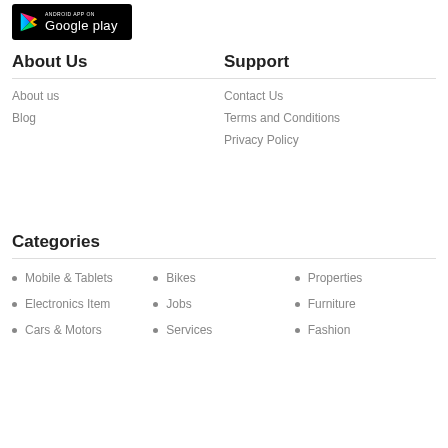[Figure (logo): Google Play Store badge on black background with Play triangle icon and text 'ANDROID APP ON Google play']
About Us
About us
Blog
Support
Contact Us
Terms and Conditions
Privacy Policy
Categories
Mobile & Tablets
Electronics Item
Cars & Motors
Bikes
Jobs
Services
Properties
Furniture
Fashion